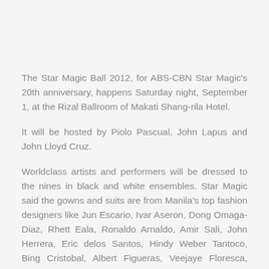The Star Magic Ball 2012, for ABS-CBN Star Magic's 20th anniversary, happens Saturday night, September 1, at the Rizal Ballroom of Makati Shang-rila Hotel.
It will be hosted by Piolo Pascual, John Lapus and John Lloyd Cruz.
Worldclass artists and performers will be dressed to the nines in black and white ensembles. Star Magic said the gowns and suits are from Manila's top fashion designers like Jun Escario, Ivar Aseron, Dong Omaga-Diaz, Rhett Eala, Ronaldo Arnaldo, Amir Sali, John Herrera, Eric delos Santos, Hindy Weber Tantoco, Bing Cristobal, Albert Figueras, Veejaye Floresca, Jeffrey Rogador, Sassa Jimenez, Tina Daniac, Joey Samson, Regine Tolentino, Albert Andrada, M Barretto, Jovan dela Cruz, Mannie Jalasan, Ferdie Abuel,